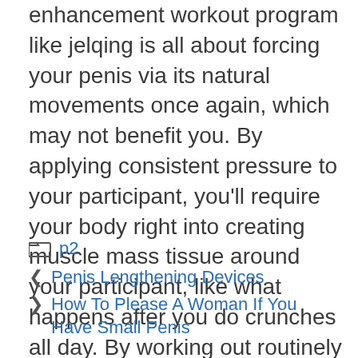enhancement workout program like jelqing is all about forcing your penis via its natural movements once again, which may not benefit you. By applying consistent pressure to your participant, you'll require your body right into creating muscle mass tissue around your participant, like what happens after you do crunches all day. By working out routinely as well as following the correct program, you can start to see gains within a couple of brief weeks.
p2
Penis Lengthening Devices
How To Please A Woman If You Have Small Penis